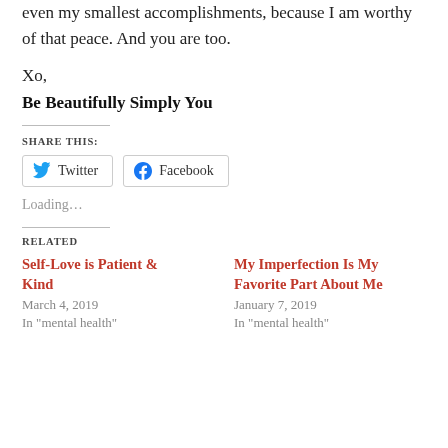even my smallest accomplishments, because I am worthy of that peace. And you are too.
Xo,
Be Beautifully Simply You
SHARE THIS:
Twitter
Facebook
Loading…
RELATED
Self-Love is Patient & Kind
March 4, 2019
In "mental health"
My Imperfection Is My Favorite Part About Me
January 7, 2019
In "mental health"